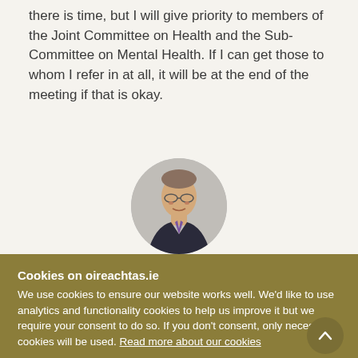there is time, but I will give priority to members of the Joint Committee on Health and the Sub-Committee on Mental Health. If I can get those to whom I refer in at all, it will be at the end of the meeting if that is okay.
[Figure (photo): Circular portrait photo of a middle-aged man wearing glasses, dark suit jacket, and purple tie, against a light grey background.]
Cookies on oireachtas.ie
We use cookies to ensure our website works well. We'd like to use analytics and functionality cookies to help us improve it but we require your consent to do so. If you don't consent, only necessary cookies will be used. Read more about our cookies
Manage cookies
Accept all cookies